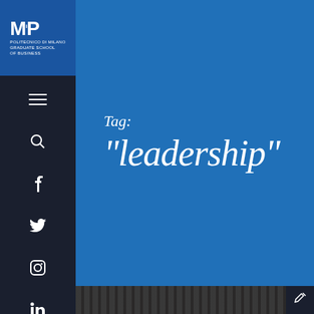[Figure (logo): MIP Politecnico di Milano Graduate School of Business logo in white on blue background]
[Figure (infographic): Navigation sidebar with hamburger menu, search, Facebook, Twitter, Instagram, and LinkedIn icons on dark navy background]
Tag: "leadership"
[Figure (photo): Interior ceiling photo of a building, dark industrial style with corrugated metal ceiling]